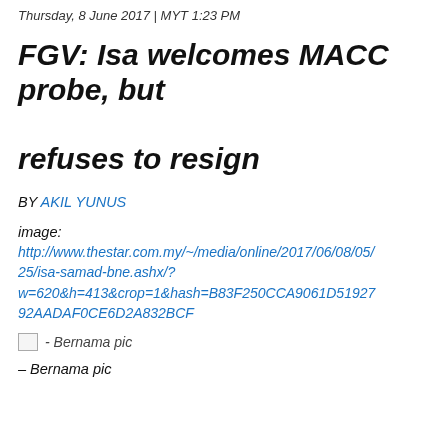Thursday, 8 June 2017 | MYT 1:23 PM
FGV: Isa welcomes MACC probe, but refuses to resign
BY AKIL YUNUS
image:
http://www.thestar.com.my/~/media/online/2017/06/08/05/25/isa-samad-bne.ashx/?w=620&h=413&crop=1&hash=B83F250CCA9061D519279​2AADAF0CE6D2A832BCF
- Bernama pic
– Bernama pic